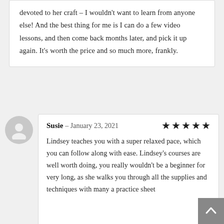devoted to her craft – I wouldn't want to learn from anyone else! And the best thing for me is I can do a few video lessons, and then come back months later, and pick it up again. It's worth the price and so much more, frankly.
Susie – January 23, 2021
Lindsey teaches you with a super relaxed pace, which you can follow along with ease. Lindsey's courses are well worth doing, you really wouldn't be a beginner for very long, as she walks you through all the supplies and techniques with many a practice sheet